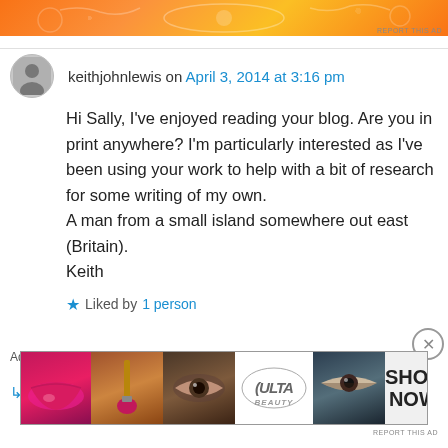[Figure (other): Orange and yellow decorative banner advertisement at top of page]
keithjohnlewis on April 3, 2014 at 3:16 pm
Hi Sally, I've enjoyed reading your blog. Are you in print anywhere? I'm particularly interested as I've been using your work to help with a bit of research for some writing of my own.
A man from a small island somewhere out east (Britain).
Keith
★ Liked by 1 person
↳ Reply
Advertisements
[Figure (photo): ULTA beauty advertisement banner showing makeup imagery with lips, brush, eyes, ULTA logo, and SHOP NOW text]